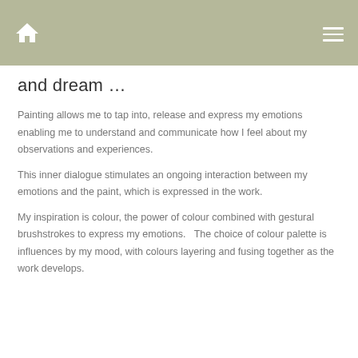Home | Menu
and dream …
Painting allows me to tap into, release and express my emotions enabling me to understand and communicate how I feel about my observations and experiences.
This inner dialogue stimulates an ongoing interaction between my emotions and the paint, which is expressed in the work.
My inspiration is colour, the power of colour combined with gestural brushstrokes to express my emotions.   The choice of colour palette is influences by my mood, with colours layering and fusing together as the work develops.